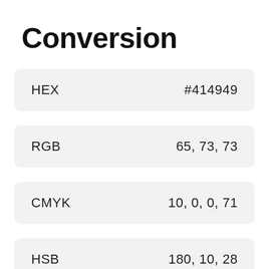Conversion
| Format | Value |
| --- | --- |
| HEX | #414949 |
| RGB | 65, 73, 73 |
| CMYK | 10, 0, 0, 71 |
| HSB | 180, 10, 28 |